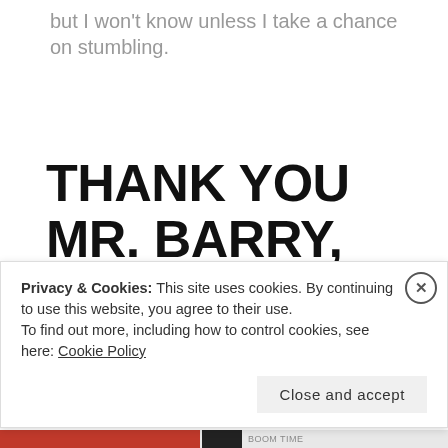but I won't know unless I take a chance on stumbling.
THANK YOU MR. BARRY, SOMEWHERE IN TIME
Posted on March 6, 2018
Privacy & Cookies: This site uses cookies. By continuing to use this website, you agree to their use. To find out more, including how to control cookies, see here: Cookie Policy
Close and accept